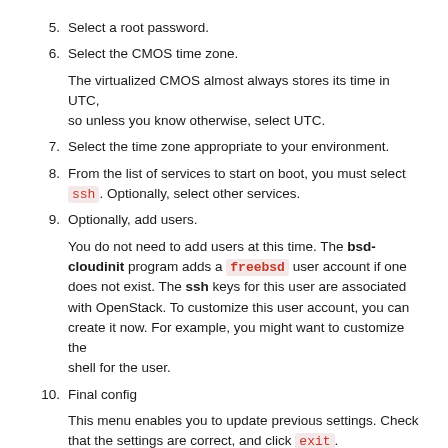5. Select a root password.
6. Select the CMOS time zone.
The virtualized CMOS almost always stores its time in UTC, so unless you know otherwise, select UTC.
7. Select the time zone appropriate to your environment.
8. From the list of services to start on boot, you must select ssh. Optionally, select other services.
9. Optionally, add users.
You do not need to add users at this time. The bsd-cloudinit program adds a freebsd user account if one does not exist. The ssh keys for this user are associated with OpenStack. To customize this user account, you can create it now. For example, you might want to customize the shell for the user.
10. Final config
This menu enables you to update previous settings. Check that the settings are correct, and click exit.